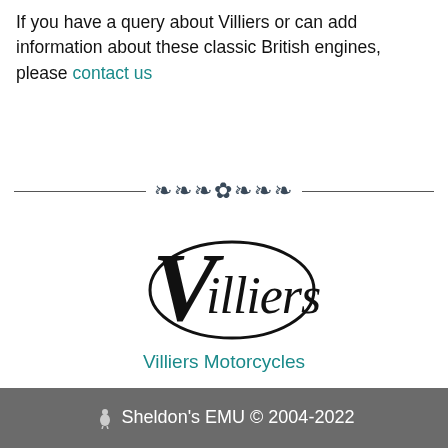If you have a query about Villiers or can add information about these classic British engines, please contact us
[Figure (illustration): Decorative horizontal divider with ornamental fleur-de-lis and scroll design between two horizontal lines]
[Figure (logo): Villiers Motorcycles logo — stylized italic 'Villiers' script inside an oval]
Villiers Motorcycles
🦤 Sheldon's EMU © 2004-2022